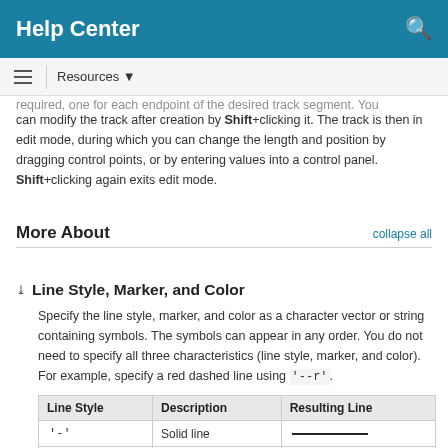Help Center
can modify the track after creation by Shift+clicking it. The track is then in edit mode, during which you can change the length and position by dragging control points, or by entering values into a control panel. Shift+clicking again exits edit mode.
More About
Line Style, Marker, and Color
Specify the line style, marker, and color as a character vector or string containing symbols. The symbols can appear in any order. You do not need to specify all three characteristics (line style, marker, and color). For example, specify a red dashed line using '--r'.
| Line Style | Description | Resulting Line |
| --- | --- | --- |
| '-' | Solid line | ——— |
| '--' | Dashed line | — — — |